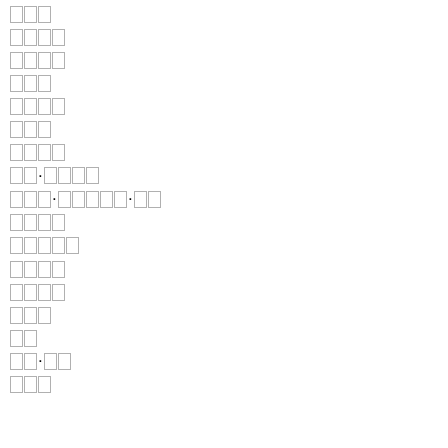□□□
□□□□
□□□□
□□□
□□□□
□□□
□□□□
□□·□□□□
□□□·□□□□□·□□
□□□□
□□□□□
□□□□
□□□□
□□□
□□
□□·□□
□□□